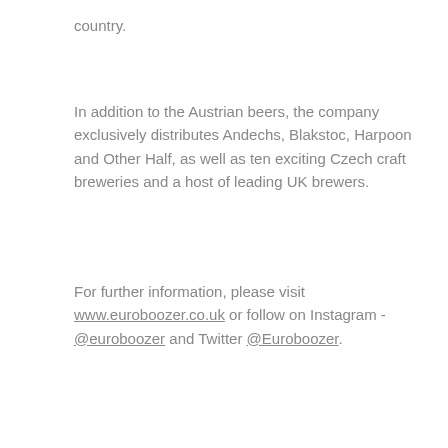country.
In addition to the Austrian beers, the company exclusively distributes Andechs, Blakstoc, Harpoon and Other Half, as well as ten exciting Czech craft breweries and a host of leading UK brewers.
For further information, please visit www.euroboozer.co.uk or follow on Instagram - @euroboozer and Twitter @Euroboozer.